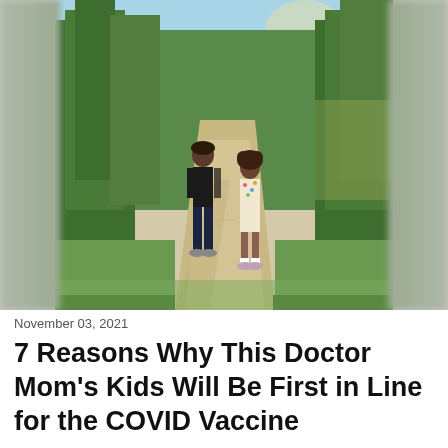[Figure (photo): Two children walking away from the camera on a gravel forest path surrounded by green trees under a blue sky. The child on the left wears a black long-sleeve shirt and dark pants; the child on the right wears a colorful patterned top and shorts. The sides of the image are blurred.]
November 03, 2021
7 Reasons Why This Doctor Mom's Kids Will Be First in Line for the COVID Vaccine